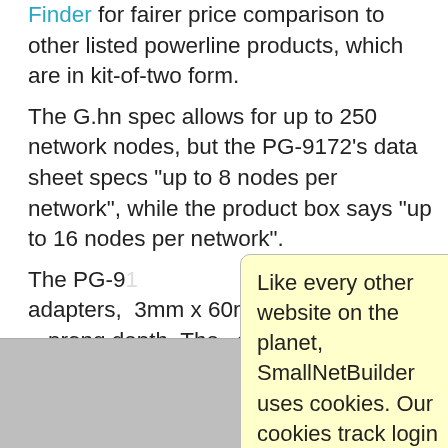Finder for fairer price comparison to other listed powerline products, which are in kit-of-two form.
The G.hn spec allows for up to 250 network nodes, but the PG-9172's data sheet specs "up to 8 nodes per network", while the product box says "up to 16 nodes per network".
The PG-9[...] powerline adapters, [...] 83mm x 60mm x 3[...] prong depth. The [...] ock the adjacent o[...]
Like every other website on the planet, SmallNetBuilder uses cookies. Our cookies track login status, but we only allow admins to log in anyway, so those don't apply to you. Any other cookies you pick up during your visit come from advertisers, which we don't control.
If you continue to use the site, you agree to tolerate our use of cookies. Thank you!
[Figure (photo): Bottom strip showing two powerline adapter devices side by side, gray/silver colored]